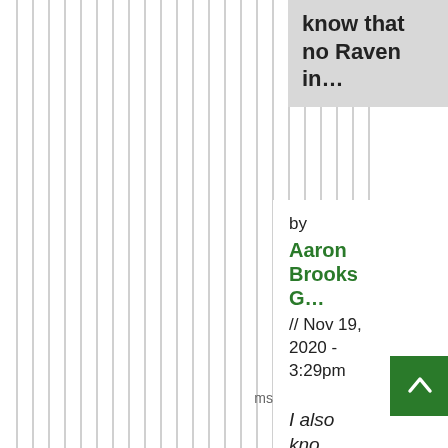know that no Raven in...
by Aaron Brooks G... // Nov 19, 2020 - 3:29pm
I also kno that Raven in history makes th...
[Figure (other): Back to top button — green square with white upward chevron arrow]